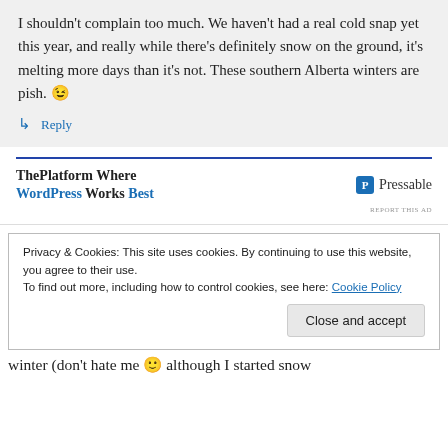I shouldn't complain too much. We haven't had a real cold snap yet this year, and really while there's definitely snow on the ground, it's melting more days than it's not. These southern Alberta winters are pish. 😉
↳ Reply
[Figure (infographic): Advertisement for Pressable WordPress hosting. Blue horizontal rule at top, text 'ThePlatform Where WordPress Works Best' with Pressable logo and name on the right.]
REPORT THIS AD
Privacy & Cookies: This site uses cookies. By continuing to use this website, you agree to their use.
To find out more, including how to control cookies, see here: Cookie Policy
Close and accept
winter (don't hate me 🙂 although I started snow